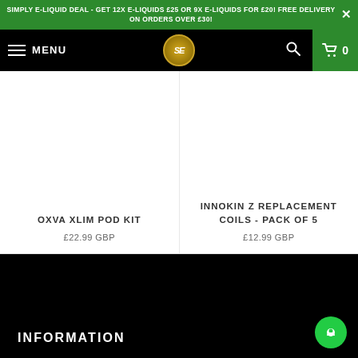SIMPLY E-LIQUID DEAL - GET 12X E-LIQUIDS £25 OR 9X E-LIQUIDS FOR £20! FREE DELIVERY ON ORDERS OVER £30!
MENU
OXVA XLIM POD KIT
£22.99 GBP
INNOKIN Z REPLACEMENT COILS - PACK OF 5
£12.99 GBP
INFORMATION